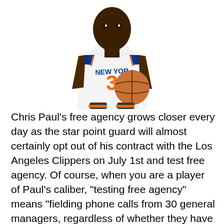[Figure (photo): Basketball player wearing a New York Knicks white jersey with number 3, holding a basketball under his arm, posed against a white background.]
Chris Paul's free agency grows closer every day as the star point guard will almost certainly opt out of his contract with the Los Angeles Clippers on July 1st and test free agency. Of course, when you are a player of Paul's caliber, “testing free agency” means “fielding phone calls from 30 general managers, regardless of whether they have cap room or not”. Every Knicks fan has read something or heard something about Chris Paul’s chances of landing in New York. Articles have been written about the cap, Paul’s